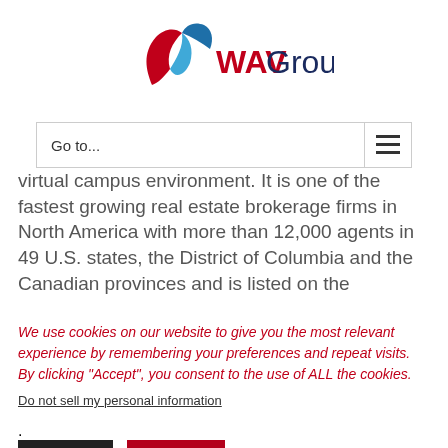[Figure (logo): WAV Group logo with blue and red ribbon W mark and dark navy 'WAVGroup' text]
Go to...
virtual campus environment. It is one of the fastest growing real estate brokerage firms in North America with more than 12,000 agents in 49 U.S. states, the District of Columbia and the Canadian provinces and is listed on the
We use cookies on our website to give you the most relevant experience by remembering your preferences and repeat visits. By clicking “Accept”, you consent to the use of ALL the cookies.
Do not sell my personal information.
Settings
Accept